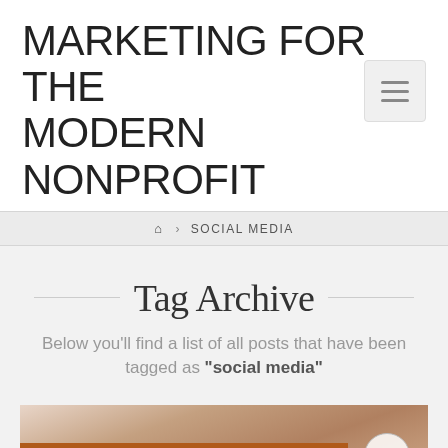MARKETING FOR THE MODERN NONPROFIT
[Figure (other): Hamburger menu button icon with three horizontal lines]
🏠 > SOCIAL MEDIA
Tag Archive
Below you'll find a list of all posts that have been tagged as "social media"
[Figure (photo): Partial image showing a blog post preview with brown/orange background and white bold italic text reading 'Social Media 2014']